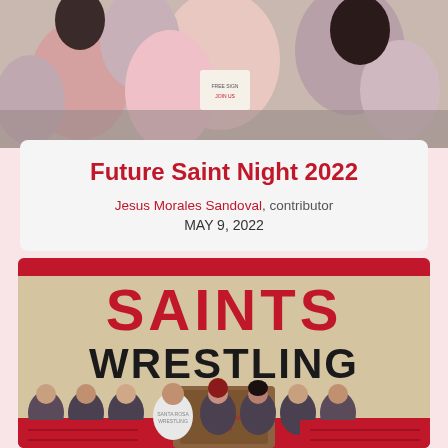[Figure (photo): Photo of people at an event, someone holding a flyer, indoor gymnasium or school setting]
Future Saint Night 2022
Jesus Morales Sandoval, contributor
MAY 9, 2022
[Figure (photo): Photo of Saints Wrestling sign and team group photo with female wrestlers in matching jackets standing in front of a Saints Wrestling backdrop]